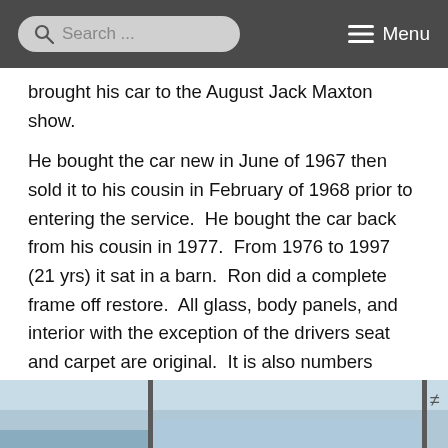Search ... Menu
brought his car to the August Jack Maxton show.
He bought the car new in June of 1967 then sold it to his cousin in February of 1968 prior to entering the service.  He bought the car back from his cousin in 1977.  From 1976 to 1997 (21 yrs) it sat in a barn.  Ron did a complete frame off restore.  All glass, body panels, and interior with the exception of the drivers seat and carpet are original.  It is also numbers matching.  When you see it in person, it looks like Ron just drove it off the show room floor.   The car is absolutely stunning in its originality!
[Figure (photo): Partial photo strip showing what appears to be a classic car, cropped at the bottom of the page]